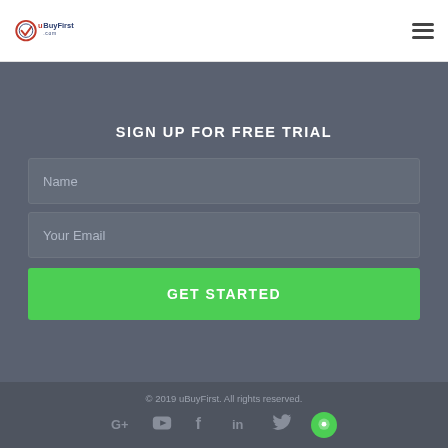[Figure (logo): uBuyFirst.com logo with checkmark icon in red/navy]
SIGN UP FOR FREE TRIAL
Name
Your Email
GET STARTED
© 2019 uBuyFirst. All rights reserved.
[Figure (illustration): Social media icons: Google+, YouTube, Facebook, LinkedIn, Twitter, Chat button]